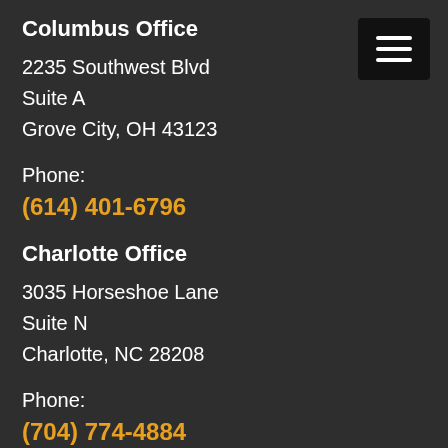Columbus Office
2235 Southwest Blvd
Suite A
Grove City, OH 43123
Phone:
(614) 401-6796
Charlotte Office
3035 Horseshoe Lane
Suite N
Charlotte, NC 28208
Phone:
(704) 774-4884
Raleigh, NC Office